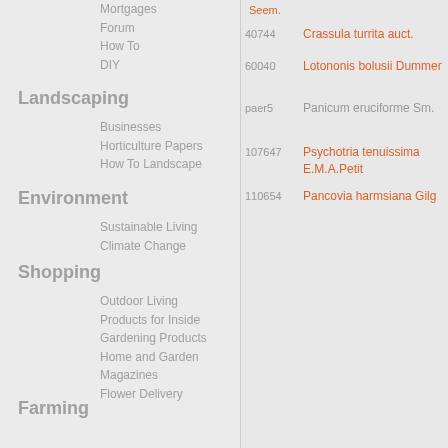Mortgages
Forum
How To
DIY
Landscaping
Businesses
Horticulture Papers
How To Landscape
Environment
Sustainable Living
Climate Change
Shopping
Outdoor Living
Products for Inside
Gardening Products
Home and Garden Magazines
Flower Delivery
Farming
Seem.
40744 Crassula turrita auct.
60040 Lotononis bolusii Dummer
paer5 Panicum eruciforme Sm.
107647 Psychotria tenuissima E.M.A.Petit
110654 Pancovia harmsiana Gilg